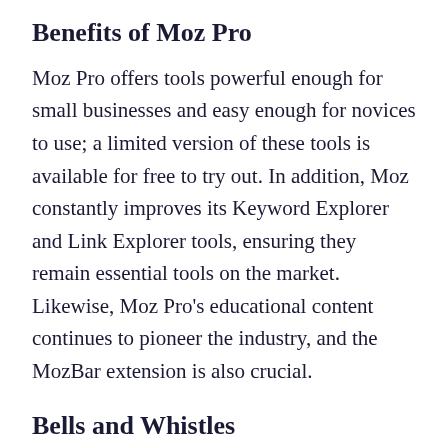Benefits of Moz Pro
Moz Pro offers tools powerful enough for small businesses and easy enough for novices to use; a limited version of these tools is available for free to try out. In addition, Moz constantly improves its Keyword Explorer and Link Explorer tools, ensuring they remain essential tools on the market. Likewise, Moz Pro's educational content continues to pioneer the industry, and the MozBar extension is also crucial.
Bells and Whistles
Moz Pro has several additional features beyond the exploratory and site optimization tools. For example, Moz Pro also publishes SEO help content and blog posts, much of which you can find in the